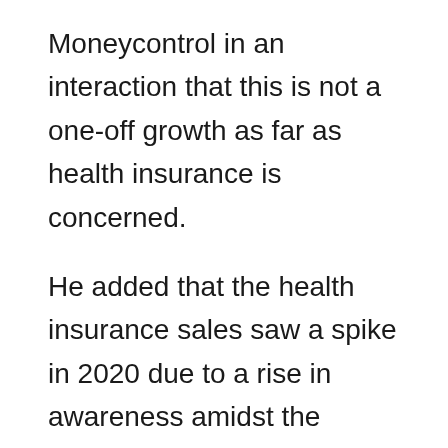Moneycontrol in an interaction that this is not a one-off growth as far as health insurance is concerned.
He added that the health insurance sales saw a spike in 2020 due to a rise in awareness amidst the Coronavirus outbreak. He said that this will see general insurers growth to move to positive territory in 2021.
“We expect health premiums to continue growing strongly into 2021, when we